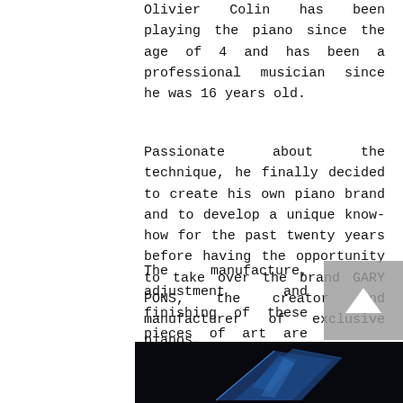Olivier Colin has been playing the piano since the age of 4 and has been a professional musician since he was 16 years old.
Passionate about the technique, he finally decided to create his own piano brand and to develop a unique know-how for the past twenty years before having the opportunity to take over the brand GARY PONS, the creator and manufacturer of exclusive pianos.
With a haute couture design and an exceptional sound, each instrument is a unique piece and a real work of art.
The manufacture, adjustment and finishing of these pieces of art are entirely handmade in France by master craftsmen and are all numbered and signed.
[Figure (photo): Dark photo showing a blue-lit piano lid or surface at an angle against a black background]